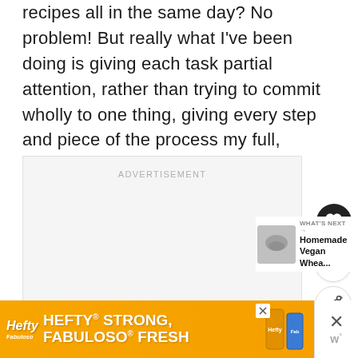recipes all in the same day? No problem! But really what I've been doing is giving each task partial attention, rather than trying to commit wholly to one thing, giving every step and piece of the process my full, undivided attention.
[Figure (other): Advertisement placeholder box with 'ADVERTISEMENT' label, like/heart button (dark circle with heart icon), count showing '1', and share button]
[Figure (other): What's Next section with thumbnail image and text 'Homemade Vegan Whea...']
[Figure (other): Hefty and Fabuloso advertisement banner at bottom reading 'HEFTY STRONG, FABULOSO FRESH' with product images and close/dismiss buttons]